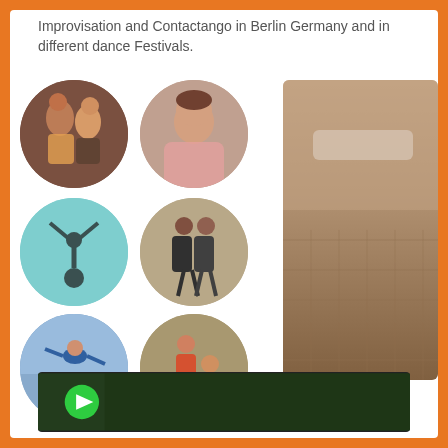Improvisation and Contactango in Berlin Germany and in different dance Festivals.
[Figure (photo): Six circular photo thumbnails showing dancers: couple dancing tango, male portrait, acrobat suspended, tango couple, aerial lift, contact dance outdoors]
[Figure (photo): Large vertical photo showing a wooden floor / dance studio space in sepia/warm tones]
[Figure (photo): Bottom dark banner strip with green circular play button overlay, showing outdoor/nature dance scene]